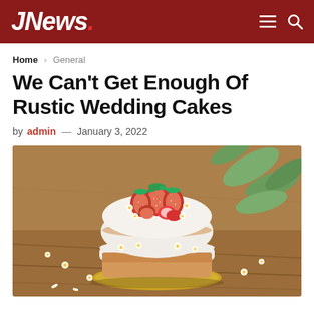JNews.
Home > General
We Can't Get Enough Of Rustic Wedding Cakes
by admin — January 3, 2022
[Figure (photo): A rustic naked wedding cake topped with fresh strawberries and small white daisy flowers, sitting on a wooden surface with eucalyptus leaves in the background.]